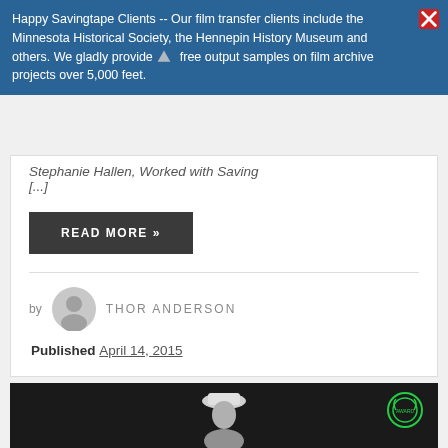Happy Savingtape Clients -- Our film transfer clients include the Minnesota Historical Society, the Hennepin History Museum and others. We gladly provide free output samples on film archive projects over 5,000 feet.
Stephanie Hallen, Worked with Saving [...]
READ MORE »
by THOR ANDERSON
Published April 14, 2015
[Figure (photo): Grayscale image showing a person with a hat, with a green circular emblem/logo in the upper right corner]